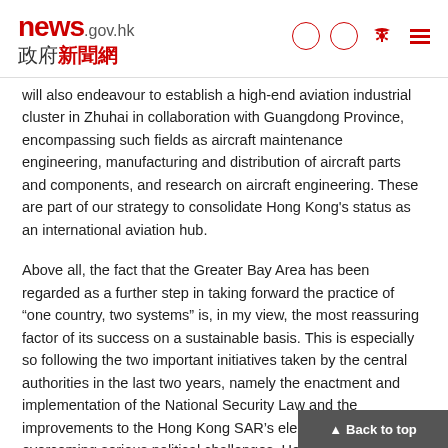news.gov.hk 政府新聞網
will also endeavour to establish a high-end aviation industrial cluster in Zhuhai in collaboration with Guangdong Province, encompassing such fields as aircraft maintenance engineering, manufacturing and distribution of aircraft parts and components, and research on aircraft engineering. These are part of our strategy to consolidate Hong Kong's status as an international aviation hub.
Above all, the fact that the Greater Bay Area has been regarded as a further step in taking forward the practice of "one country, two systems" is, in my view, the most reassuring factor of its success on a sustainable basis. This is especially so following the two important initiatives taken by the central authorities in the last two years, namely the enactment and implementation of the National Security Law and the improvements to the Hong Kong SAR's electoral system. After overcoming serious political challenges, Hong Kong is back on the track of "one country, two systems" and Hong Kong is poised to take full advantage of her unique strengths under our constitutional order.
Chief Executive Carrie Lam gave these remarks at A New Journey with Greater Opportunities - Virtual Tour to the Grea...